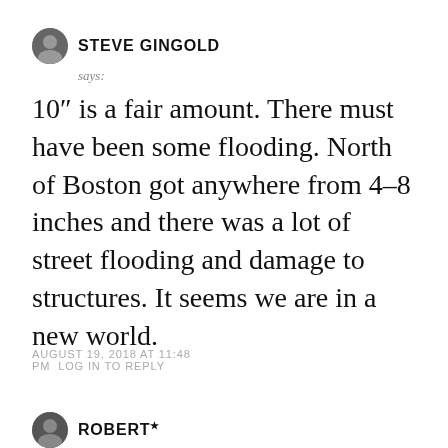STEVE GINGOLD
says:
10″ is a fair amount. There must have been some flooding. North of Boston got anywhere from 4-8 inches and there was a lot of street flooding and damage to structures. It seems we are in a new world.
AUGUST 19, 2018 AT 11:48 PM LOG IN TO REPLY
ROBERT★